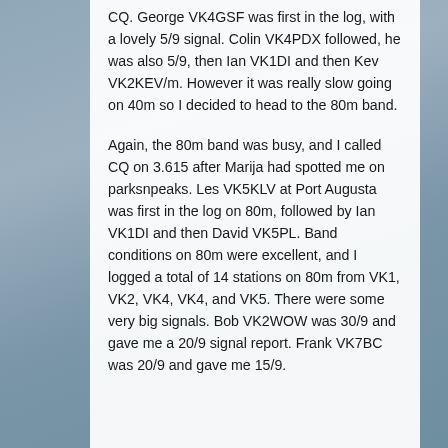CQ.  George VK4GSF was first in the log, with a lovely 5/9 signal.  Colin VK4PDX followed, he was also 5/9, then Ian VK1DI and then Kev VK2KEV/m.  However it was really slow going on 40m so I decided to head to the 80m band.
Again, the 80m band was busy, and I called CQ on 3.615 after Marija had spotted me on parksnpeaks.  Les VK5KLV at Port Augusta was first in the log on 80m, followed by Ian VK1DI and then David VK5PL.  Band conditions on 80m were excellent, and I logged a total of 14 stations on 80m from VK1, VK2, VK4, VK4, and VK5.  There were some very big signals.  Bob VK2WOW was 30/9 and gave me a 20/9 signal report.  Frank VK7BC was 20/9 and gave me 15/9.